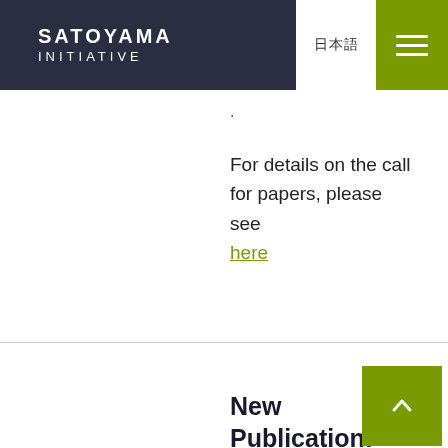SATOYAMA INITIATIVE
·
For details on the call for papers, please see here
New Publication: Community-Based Responses for Tackling Environmental and